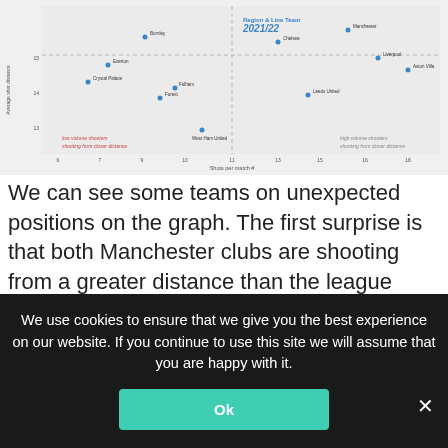[Figure (scatter-plot): Scatter plot showing Premier League teams by shots per match and average shot distance, with quadrant labels for low/high volume shooters and shorter/greater shot distances.]
We can see some teams on unexpected positions on the graph. The first surprise is that both Manchester clubs are shooting from a greater distance than the league average, however they shoot more often which could affect the distance. Aston Villa make the most out of their direct football, as they have the highest number of shots per match and are also...
We use cookies to ensure that we give you the best experience on our website. If you continue to use this site we will assume that you are happy with it.